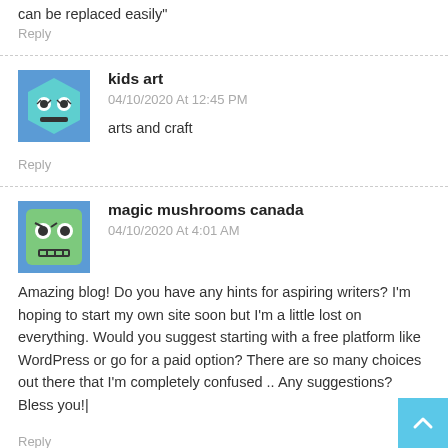can be replaced easily"
Reply
kids art
04/10/2020 At 12:45 PM
arts and craft
Reply
magic mushrooms canada
04/10/2020 At 4:01 AM
Amazing blog! Do you have any hints for aspiring writers? I'm hoping to start my own site soon but I'm a little lost on everything. Would you suggest starting with a free platform like WordPress or go for a paid option? There are so many choices out there that I'm completely confused .. Any suggestions? Bless you!|
Reply